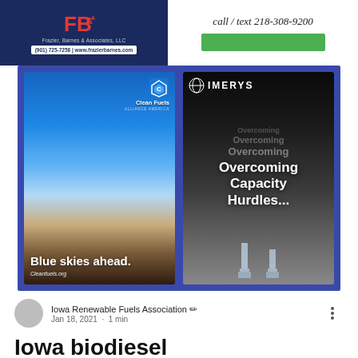[Figure (photo): Frazier Barnes & Associates advertisement with red logo on dark blue background, phone number (901) 725-7258 and website www.frazierbarnes.com]
[Figure (photo): Advertisement with text 'call / text 218-308-9200' and a green button bar]
[Figure (photo): Blue banner containing two advertisement cards side by side: Left card shows Clean Fuels Alliance America logo with 'Blue skies ahead.' text and Cleanfuels.org URL over a highway photo. Right card shows Imerys logo with 'Overcoming Capacity Hurdles...' text in repeated ghost layers over dark background with trophies.]
Iowa Renewable Fuels Association  Jan 18, 2021  ·  1 min
Iowa biodiesel